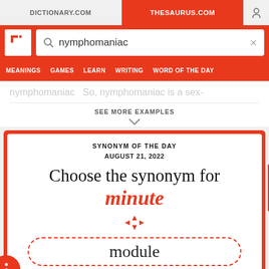DICTIONARY.COM   THESAURUS.COM
nymphomaniac
MEANINGS   GAMES   LEARN   WRITING   WORD OF THE DAY
nymphomaniac … So, nymphomaniac is a sex-
SEE MORE EXAMPLES
SYNONYM OF THE DAY
AUGUST 21, 2022
Choose the synonym for minute
module